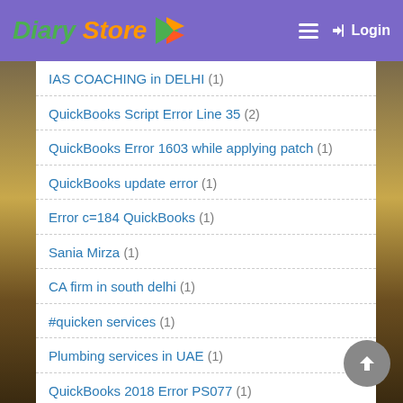Diary Store - Login
IAS COACHING in DELHI (1)
QuickBooks Script Error Line 35 (2)
QuickBooks Error 1603 while applying patch (1)
QuickBooks update error (1)
Error c=184 QuickBooks (1)
Sania Mirza (1)
CA firm in south delhi (1)
#quicken services (1)
Plumbing services in UAE (1)
QuickBooks 2018 Error PS077 (1)
error 6150 in QuickBooks (2)
Banking Error 9999 (1)